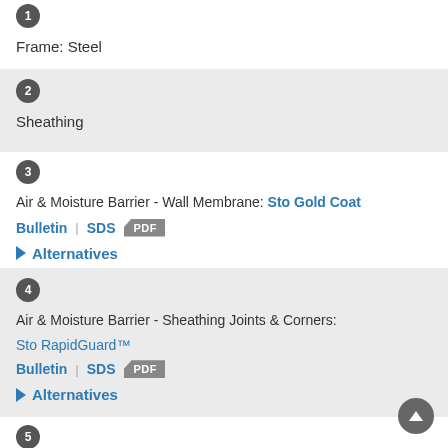1 Frame: Steel
2 Sheathing
3 Air & Moisture Barrier - Wall Membrane: Sto Gold Coat
Bulletin | SDS [PDF]
▶ Alternatives
4 Air & Moisture Barrier - Sheathing Joints & Corners: Sto RapidGuard™
Bulletin | SDS [PDF]
▶ Alternatives
5